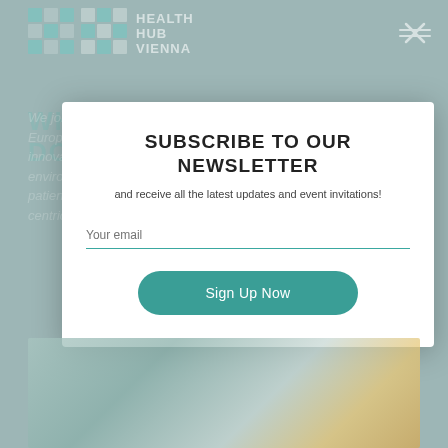[Figure (logo): Health Hub Vienna logo with teal grid/cross pattern and text]
WHAT HEALTH HUB VIENNA DOES
We join forces with key stakeholders to improve the Austrian and European healthcare system. By providing a collaborative and innovative environment, Health Hub Vienna will catalyze new, holistic and patient-centric solutions.
SUBSCRIBE TO OUR NEWSLETTER
and receive all the latest updates and event invitations!
Your email
Sign Up Now
[Figure (photo): Bottom section showing people/event photos in tiled layout]